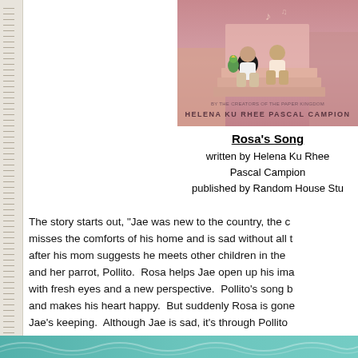[Figure (illustration): Book cover illustration for Rosa's Song showing two children sitting on steps with a parrot, pink/warm color palette. Authors Helena Ku Rhee and Pascal Campion credited at bottom.]
Rosa's Song
written by Helena Ku Rhee
Pascal Campion
published by Random House Stu
The story starts out, "Jae was new to the country, the c... misses the comforts of his home and is sad without all t... after his mom suggests he meets other children in the ... and her parrot, Pollito.  Rosa helps Jae open up his ima... with fresh eyes and a new perspective.  Pollito's song b... and makes his heart happy.  But suddenly Rosa is gone... Jae's keeping.  Although Jae is sad, it's through Pollito... imagination that Rosa left that allow Jae to open his he...